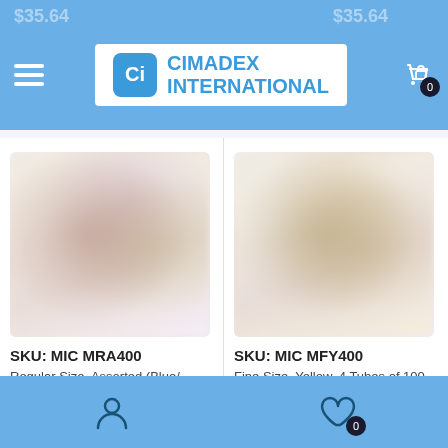Cimadex International
[Figure (photo): Product image for MIC MRA400 - blurred/placeholder product photo]
SKU: MIC MRA400
Regular Size, Assorted (Blue/ Green/ Peach/ Purple), 4 Tubes of 100 Applicators, 400/pk
$35.64
[Figure (photo): Product image for MIC MFY400 - blurred/placeholder product photo]
SKU: MIC MFY400
Fine Size, Yellow, 4 Tubes of 100 Applicators, 400/pk
$35.64
Microbrush Corporation
Microbrush Corporation
Navigation bar with user and wishlist icons